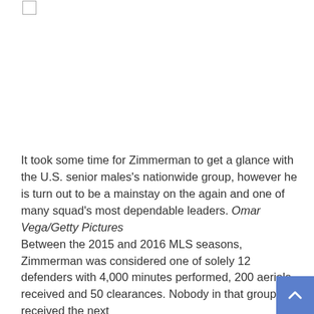[Figure (other): Top navigation bar with checkbox element and horizontal rule]
It took some time for Zimmerman to get a glance with the U.S. senior males's nationwide group, however he is turn out to be a mainstay on the again and one of many squad's most dependable leaders. Omar Vega/Getty Pictures
Between the 2015 and 2016 MLS seasons, Zimmerman was considered one of solely 12 defenders with 4,000 minutes performed, 200 aerials received and 50 clearances. Nobody in that group received the next